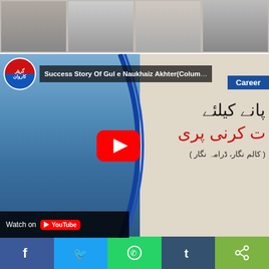[Figure (photo): Top strip showing multiple photos of people]
[Figure (screenshot): YouTube video thumbnail showing 'Success Story Of Gul e Naukhaiz Akhter (Columnist, Drama Writer)' with a man in blue shirt seated at desk, Urdu text on right side, YouTube play button overlay, Watch on YouTube bar, Career badge, and Greytar Caravan logo]
[Figure (infographic): Social media share buttons bar: Facebook (blue), Twitter (light blue), WhatsApp (green), Tumblr (dark blue), Share (green)]